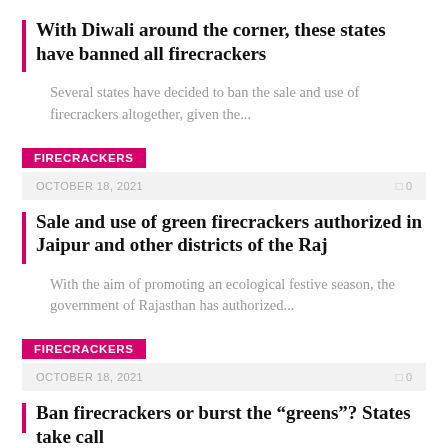With Diwali around the corner, these states have banned all firecrackers
Several states have decided to ban the sale and use of firecrackers altogether, given the...
FIRECRACKERS
OCTOBER 18, 2021   0
Sale and use of green firecrackers authorized in Jaipur and other districts of the Raj
With the aim of promoting an ecological festive season, the government of Rajasthan has authorized...
FIRECRACKERS
OCTOBER 18, 2021   0
Ban firecrackers or burst the “greens”? States take call